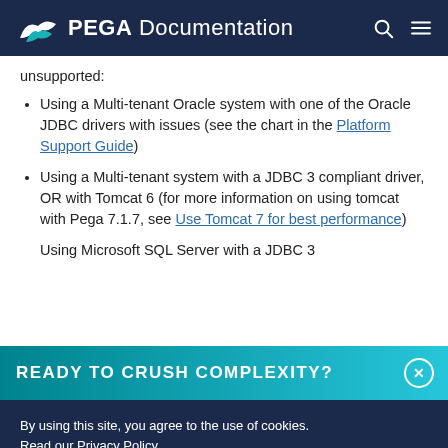PEGA Documentation
unsupported:
Using a Multi-tenant Oracle system with one of the Oracle JDBC drivers with issues (see the chart in the Platform Support Guide)
Using a Multi-tenant system with a JDBC 3 compliant driver, OR with Tomcat 6 (for more information on using tomcat with Pega 7.1.7, see Use Tomcat 7 for best performance)
Using Microsoft SQL Server with a JDBC 3...
READY TO CRUSH COMPLEXITY?
By using this site, you agree to the use of cookies. Read our Privacy Policy
Accept and continue | About cookies